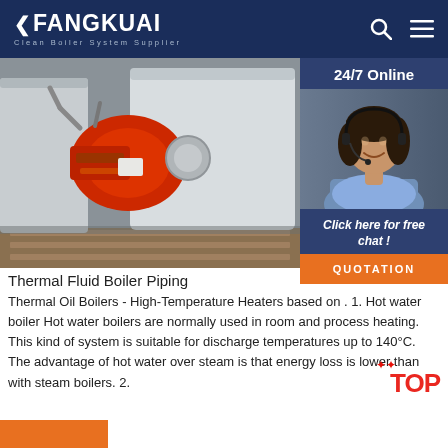FANGKUAI — Clean Boiler System Supplier
[Figure (photo): Industrial thermal fluid boiler with red burner attached, mounted on wooden pallets in a factory setting]
[Figure (photo): 24/7 Online customer service agent — woman wearing headset smiling, with chat button and QUOTATION button below]
Thermal Fluid Boiler Piping
Thermal Oil Boilers - High-Temperature Heaters based on . 1. Hot water boiler Hot water boilers are normally used in room and process heating. This kind of system is suitable for discharge temperatures up to 140°C. The advantage of hot water over steam is that energy loss is lower than with steam boilers. 2.